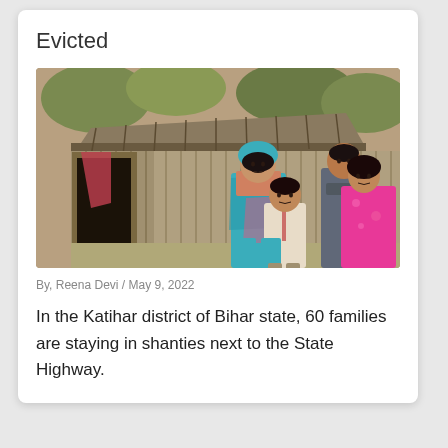Evicted
[Figure (photo): A family of four — a woman in a blue saree, a man, a boy, and a girl in pink — standing in front of a bamboo/wooden shanty structure with a corrugated roof.]
By, Reena Devi / May 9, 2022
In the Katihar district of Bihar state, 60 families are staying in shanties next to the State Highway.